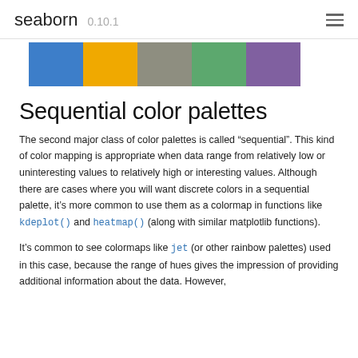seaborn 0.10.1
[Figure (other): Five color swatches in a row: blue, orange/yellow, gray, green, purple]
Sequential color palettes
The second major class of color palettes is called “sequential”. This kind of color mapping is appropriate when data range from relatively low or uninteresting values to relatively high or interesting values. Although there are cases where you will want discrete colors in a sequential palette, it’s more common to use them as a colormap in functions like kdeplot() and heatmap() (along with similar matplotlib functions).
It’s common to see colormaps like jet (or other rainbow palettes) used in this case, because the range of hues gives the impression of providing additional information about the data. However,